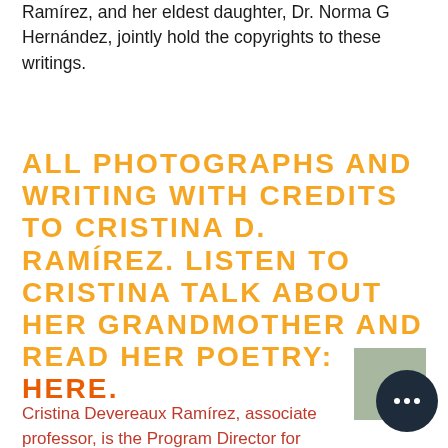Ramírez, and her eldest daughter, Dr. Norma G Hernández, jointly hold the copyrights to these writings.
ALL PHOTOGRAPHS AND WRITING WITH CREDITS TO CRISTINA D. RAMÍREZ. LISTEN TO CRISTINA TALK ABOUT HER GRANDMOTHER AND READ HER POETRY: HERE.
Cristina Devereaux Ramírez, associate professor, is the Program Director for Rhetoric, Composition, and the Teaching of English (RCTE) graduate program in the